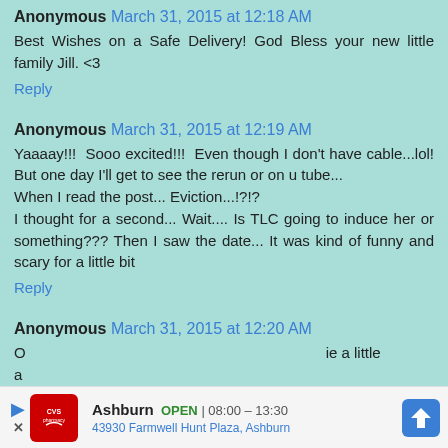Anonymous March 31, 2015 at 12:18 AM
Best Wishes on a Safe Delivery! God Bless your new little family Jill. <3
Reply
Anonymous March 31, 2015 at 12:19 AM
Yaaaay!!! Sooo excited!!! Even though I don't have cable...lol! But one day I'll get to see the rerun or on u tube...
When I read the post... Eviction...!?!?
I thought for a second... Wait.... Is TLC going to induce her or something??? Then I saw the date... It was kind of funny and scary for a little bit
Reply
Anonymous March 31, 2015 at 12:20 AM
[Figure (infographic): CVS Pharmacy advertisement banner showing store location in Ashburn, open 08:00-13:30, address 43930 Farmwell Hunt Plaza Ashburn, with navigation arrow icon]